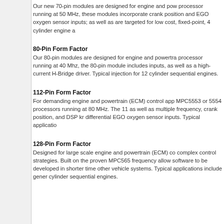Our new 70-pin modules are designed for engine and pow processor running at 50 MHz, these modules incorporate crank position and EGO oxygen sensor inputs; as well as are targeted for low cost, fixed-point, 4 cylinder engine a
80-Pin Form Factor
Our 80-pin modules are designed for engine and powertra processor running at 40 Mhz, the 80-pin module includes inputs, as well as a high-current H-Bridge driver. Typical injection for 12 cylinder sequential engines.
112-Pin Form Factor
For demanding engine and powertrain (ECM) control app MPC5553 or 5554 processors running at 80 MHz. The 11 as well as multiple frequency, crank position, and DSP kr differential EGO oxygen sensor inputs. Typical applicatio
128-Pin Form Factor
Designed for large scale engine and powertrain (ECM) co complex control strategies. Built on the proven MPC565 frequency allow software to be developed in shorter time other vehicle systems. Typical applications include gener cylinder sequential engines.